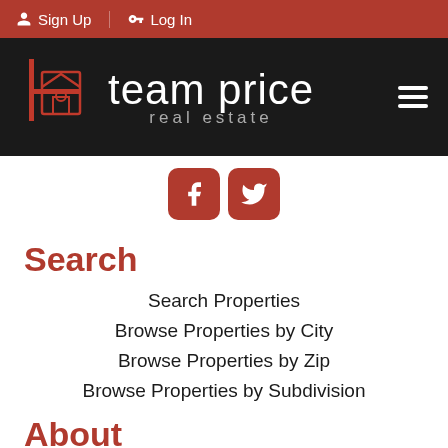Sign Up | Log In
[Figure (logo): Team Price Real Estate logo with house icon on black nav bar with hamburger menu]
[Figure (infographic): Facebook and Twitter social media icon buttons in red rounded squares]
Search
Search Properties
Browse Properties by City
Browse Properties by Zip
Browse Properties by Subdivision
About
Home